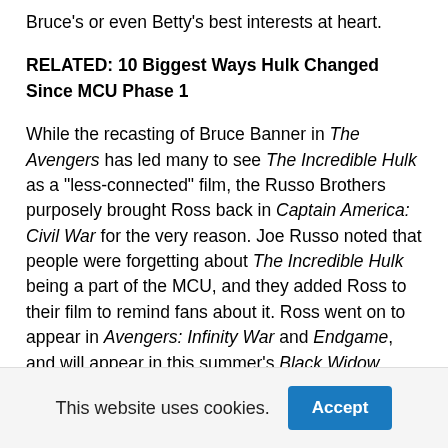Bruce's or even Betty's best interests at heart.
RELATED: 10 Biggest Ways Hulk Changed Since MCU Phase 1
While the recasting of Bruce Banner in The Avengers has led many to see The Incredible Hulk as a "less-connected" film, the Russo Brothers purposely brought Ross back in Captain America: Civil War for the very reason. Joe Russo noted that people were forgetting about The Incredible Hulk being a part of the MCU, and they added Ross to their film to remind fans about it. Ross went on to appear in Avengers: Infinity War and Endgame, and will appear in this summer's Black Widow.
3 Emil Blonsky / Abomination
This website uses cookies.